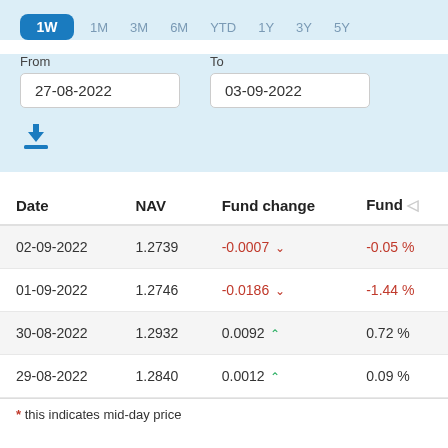1W 1M 3M 6M YTD 1Y 3Y 5Y
From: 27-08-2022   To: 03-09-2022
| Date | NAV | Fund change | Fund % |
| --- | --- | --- | --- |
| 02-09-2022 | 1.2739 | -0.0007 ↓ | -0.05 % |
| 01-09-2022 | 1.2746 | -0.0186 ↓ | -1.44 % |
| 30-08-2022 | 1.2932 | 0.0092 ↑ | 0.72 % |
| 29-08-2022 | 1.2840 | 0.0012 ↑ | 0.09 % |
* this indicates mid-day price